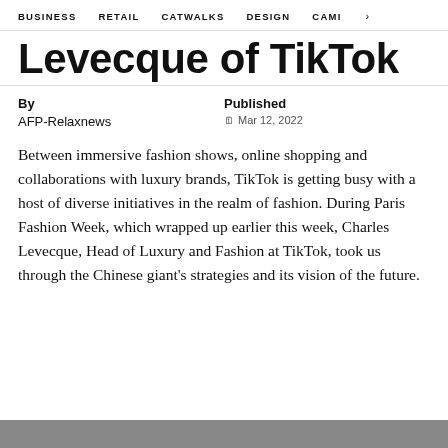BUSINESS   RETAIL   CATWALKS   DESIGN   CAMI >
Levecque of TikTok
By
AFP-Relaxnews
Published
Mar 12, 2022
Between immersive fashion shows, online shopping and collaborations with luxury brands, TikTok is getting busy with a host of diverse initiatives in the realm of fashion. During Paris Fashion Week, which wrapped up earlier this week, Charles Levecque, Head of Luxury and Fashion at TikTok, took us through the Chinese giant's strategies and its vision of the future.
[Figure (photo): Gray bar at bottom of page, partial image placeholder]